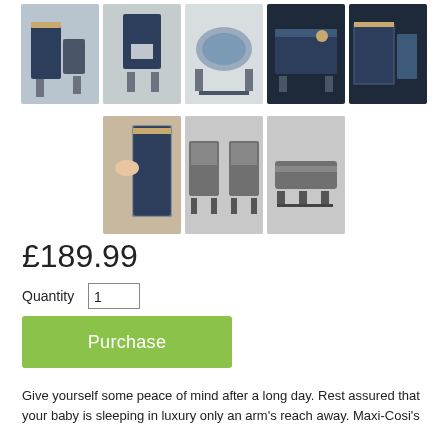[Figure (photo): Row of 5 product thumbnail images of a baby bedside bassinet/crib in dark navy blue, showing different angles]
[Figure (photo): Row of 3 product thumbnail images of the same bassinet showing additional features and accessories]
£189.99
Quantity 1
Purchase
Give yourself some peace of mind after a long day. Rest assured that your baby is sleeping in luxury only an arm's reach away. Maxi-Cosi's luxury is sophistication blending classic authentication easily directly to add...